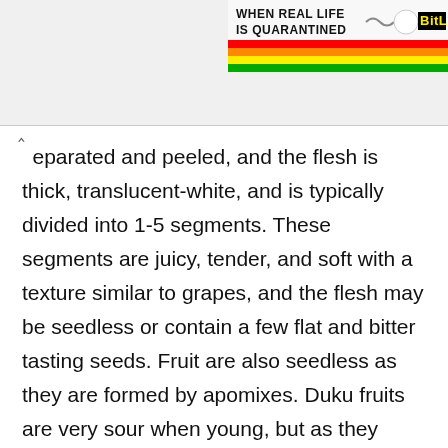[Figure (illustration): A banner advertisement showing rainbow stripes with text 'WHEN REAL LIFE IS QUARANTINED' and 'BitL' logo in yellow, with a white circular icon on the right side.]
separated and peeled, and the flesh is thick, translucent-white, and is typically divided into 1-5 segments. These segments are juicy, tender, and soft with a texture similar to grapes, and the flesh may be seedless or contain a few flat and bitter tasting seeds. Fruit are also seedless as they are formed by apomixes. Duku fruits are very sour when young, but as they mature, the fruits develop a sweet-tart flavor with light acidity, reminiscent of grapefruit and Pomelo. It